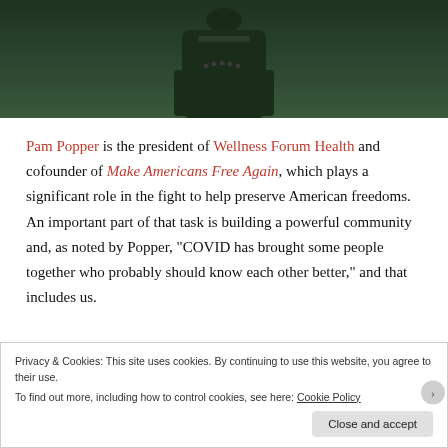[Figure (photo): Partial photo of a person wearing a dark green/black belted jacket, shown from roughly waist up against a light gray background. The top portion of the image is visible.]
Pam Popper is the president of Wellness Forum Health and cofounder of Make Americans Free Again, which plays a significant role in the fight to help preserve American freedoms. An important part of that task is building a powerful community and, as noted by Popper, “COVID has brought some people together who probably should know each other better,” and that includes us.
Privacy & Cookies: This site uses cookies. By continuing to use this website, you agree to their use.
To find out more, including how to control cookies, see here: Cookie Policy
Close and accept